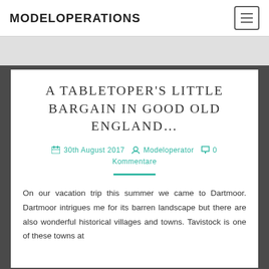MODELOPERATIONS
A TABLETOPER'S LITTLE BARGAIN IN GOOD OLD ENGLAND…
30th August 2017  Modeloperator  0 Kommentare
On our vacation trip this summer we came to Dartmoor. Dartmoor intrigues me for its barren landscape but there are also wonderful historical villages and towns. Tavistock is one of these towns at